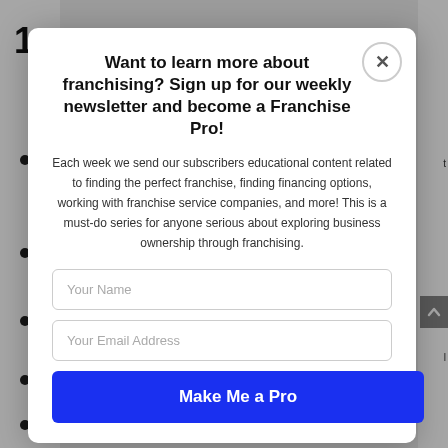Want to learn more about franchising? Sign up for our weekly newsletter and become a Franchise Pro!
Each week we send our subscribers educational content related to finding the perfect franchise, finding financing options, working with franchise service companies, and more! This is a must-do series for anyone serious about exploring business ownership through franchising.